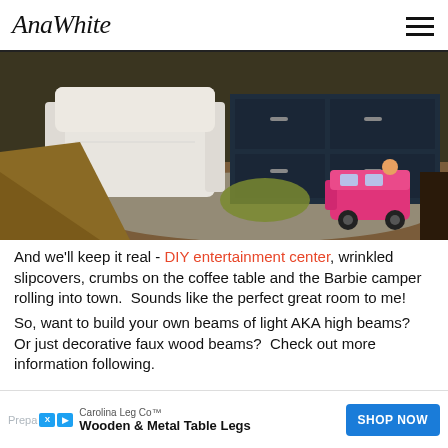AnaWhite
[Figure (photo): Living room scene with a white slipcovered armchair, dark navy blue entertainment center with drawers and cabinets, a pink Barbie camper toy, a yellow-green pillow on the floor, and a dark wooden coffee table on a patterned rug.]
And we'll keep it real - DIY entertainment center, wrinkled slipcovers, crumbs on the coffee table and the Barbie camper rolling into town.  Sounds like the perfect great room to me!
So, want to build your own beams of light AKA high beams?  Or just decorative faux wood beams?  Check out more information following.
[Figure (other): Advertisement banner: Carolina Leg Co - Wooden & Metal Table Legs with SHOP NOW button in blue]